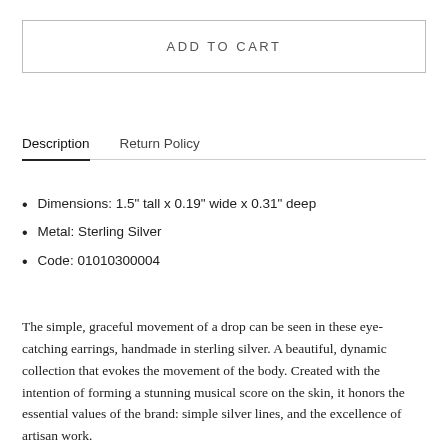ADD TO CART
Description
Return Policy
Dimensions: 1.5" tall x 0.19" wide x 0.31" deep
Metal: Sterling Silver
Code: 01010300004
The simple, graceful movement of a drop can be seen in these eye-catching earrings, handmade in sterling silver. A beautiful, dynamic collection that evokes the movement of the body. Created with the intention of forming a stunning musical score on the skin, it honors the essential values of the brand: simple silver lines, and the excellence of artisan work.